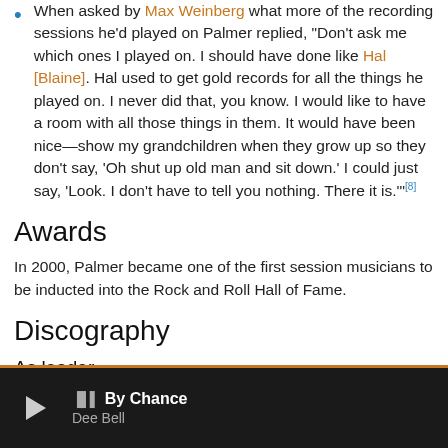When asked by Max Weinberg what more of the recording sessions he'd played on Palmer replied, "Don't ask me which ones I played on. I should have done like Hal [Blaine]. Hal used to get gold records for all the things he played on. I never did that, you know. I would like to have a room with all those things in them. It would have been nice—show my grandchildren when they grow up so they don't say, 'Oh shut up old man and sit down.' I could just say, 'Look. I don't have to tell you nothing. There it is.'"[8]
Awards
In 2000, Palmer became one of the first session musicians to be inducted into the Rock and Roll Hall of Fame.
Discography
As leader
By Chance — Dee Bell